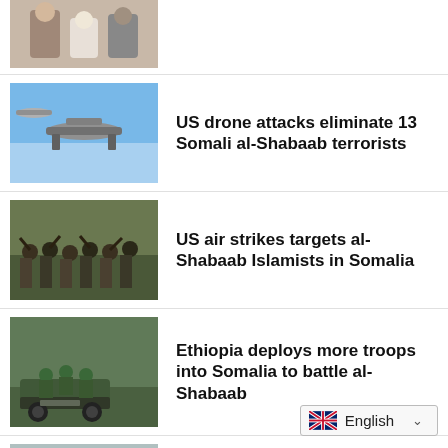[Figure (photo): Partial news thumbnail at top, people shaking hands]
[Figure (photo): Military drone aircraft in blue sky]
US drone attacks eliminate 13 Somali al-Shabaab terrorists
[Figure (photo): Al-Shabaab Islamist militants with weapons raised]
US air strikes targets al-Shabaab Islamists in Somalia
[Figure (photo): Ethiopian troops on vehicles deploying]
Ethiopia deploys more troops into Somalia to battle al-Shabaab
[Figure (photo): Somali parliament session with officials seated]
Somali parliament endorses new cabinet while al-Shabab militants bomb capital city
[Figure (photo): Partial thumbnail at bottom, Somali PM]
Somali PM a...
English